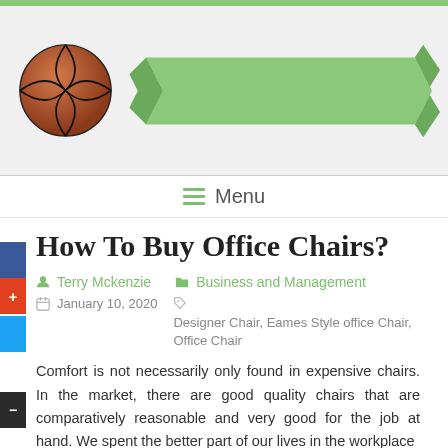[Figure (illustration): Website header banner with a basketball icon on the left and a green ribbon/banner shape on the right, on a light gray background. Below is a white menu bar with a hamburger icon and the word Menu.]
☰ Menu
How To Buy Office Chairs?
Terry Mckenzie   Business and Management
January 10, 2020   Designer Chair, Eames Style office Chair, Office Chair
Comfort is not necessarily only found in expensive chairs. In the market, there are good quality chairs that are comparatively reasonable and very good for the job at hand. We spent the better part of our lives in the workplace